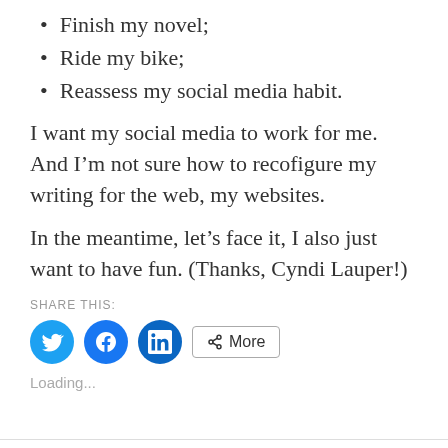Finish my novel;
Ride my bike;
Reassess my social media habit.
I want my social media to work for me. And I’m not sure how to recofigure my writing for the web, my websites.
In the meantime, let’s face it, I also just want to have fun. (Thanks, Cyndi Lauper!)
SHARE THIS:
[Figure (other): Social share buttons: Twitter, Facebook, LinkedIn circles and a More button]
Loading...